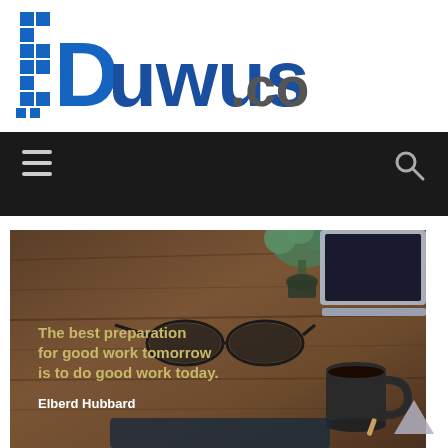[Figure (logo): Duwus.com logo with blue stylized D icon and bold blue text]
[Figure (screenshot): Dark navigation bar with hamburger menu icon on left and search icon on right]
[Figure (photo): Motivational quote image over wooden desk background with laptop, glasses, plant, coffee cup. Quote: 'The best preparation for good work tomorrow is to do good work today.' — Elberd Hubbard]